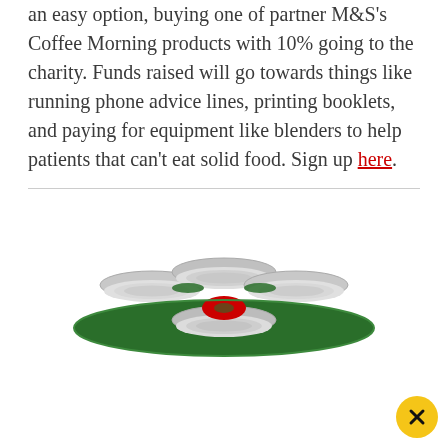an easy option, buying one of partner M&S's Coffee Morning products with 10% going to the charity. Funds raised will go towards things like running phone advice lines, printing booklets, and paying for equipment like blenders to help patients that can't eat solid food. Sign up here.
[Figure (photo): A top-down view of a multi-pack of beverage cans held together in a green plastic ring holder, with a red logo visible in the center.]